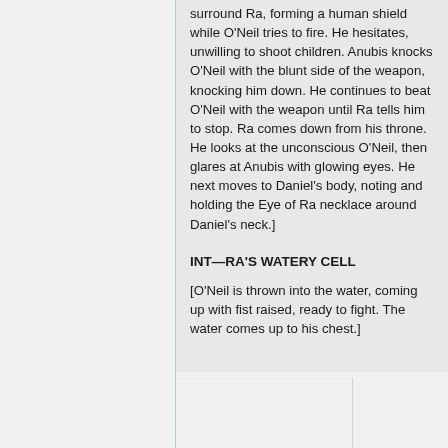surround Ra, forming a human shield while O'Neil tries to fire. He hesitates, unwilling to shoot children. Anubis knocks O'Neil with the blunt side of the weapon, knocking him down. He continues to beat O'Neil with the weapon until Ra tells him to stop. Ra comes down from his throne. He looks at the unconscious O'Neil, then glares at Anubis with glowing eyes. He next moves to Daniel's body, noting and holding the Eye of Ra necklace around Daniel's neck.]
INT—RA'S WATERY CELL
[O'Neil is thrown into the water, coming up with fist raised, ready to fight. The water comes up to his chest.]
KAWALSKI
Sober it it...